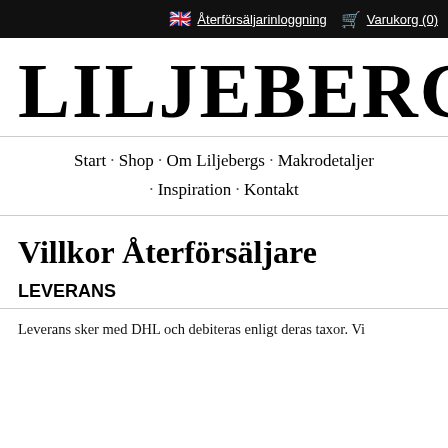🇬🇧 Återförsäljarinloggning 🛒 Varukorg (0)
LILJEBERGS
Start · Shop · Om Liljebergs · Makrodetaljer · Inspiration · Kontakt
Villkor Återförsäljare
LEVERANS
Leverans sker med DHL och debiteras enligt deras taxor. Vi